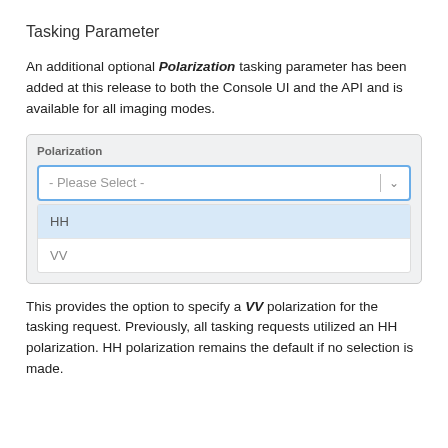Tasking Parameter
An additional optional Polarization tasking parameter has been added at this release to both the Console UI and the API and is available for all imaging modes.
[Figure (screenshot): UI dropdown selector labeled 'Polarization' showing '- Please Select -' with a dropdown open revealing options 'HH' (highlighted in blue) and 'VV']
This provides the option to specify a VV polarization for the tasking request. Previously, all tasking requests utilized an HH polarization. HH polarization remains the default if no selection is made.